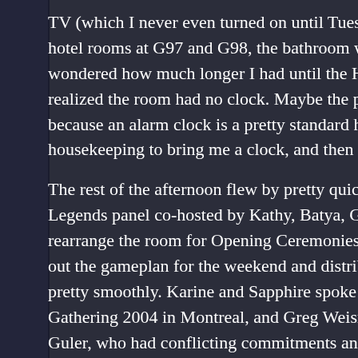TV (which I never even turned on until Tuesday morning), hotel rooms at G97 and G98, the bathroom was large, wondered how much longer I had until the History, M realized the room had no clock. Maybe the previous because an alarm clock is a pretty standard hotel room housekeeping to bring me a clock, and then I headed
The rest of the afternoon flew by pretty quickly. I attended Legends panel co-hosted by Kathy, Batya, Greg Bish rearrange the room for Opening Ceremonies and hoo out the gameplan for the weekend and distribute raff pretty smoothly. Karine and Sapphire spoke to get pe Gathering 2004 in Montreal, and Greg Weisman read Guler, who had conflicting commitments and weren't showed the tapes that those of us who have been to have nearly memorized by now: the Gargoyles pitch, Ages and New Olympians pitches, and the Bad Guys
After Opening Ceremonies, I joined Greg, Vic Cook, a restaurant called America. It was a long walk to get but the food was great and the desserts were even b